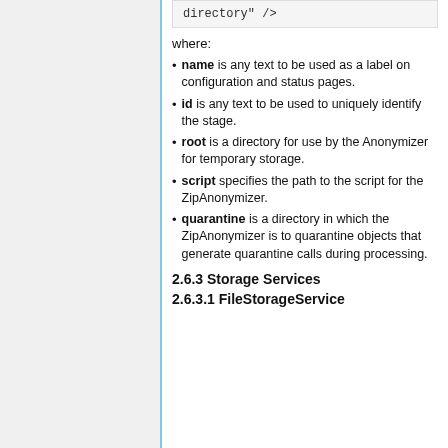directory" />
where:
name is any text to be used as a label on configuration and status pages.
id is any text to be used to uniquely identify the stage.
root is a directory for use by the Anonymizer for temporary storage.
script specifies the path to the script for the ZipAnonymizer.
quarantine is a directory in which the ZipAnonymizer is to quarantine objects that generate quarantine calls during processing.
2.6.3 Storage Services
2.6.3.1 FileStorageService